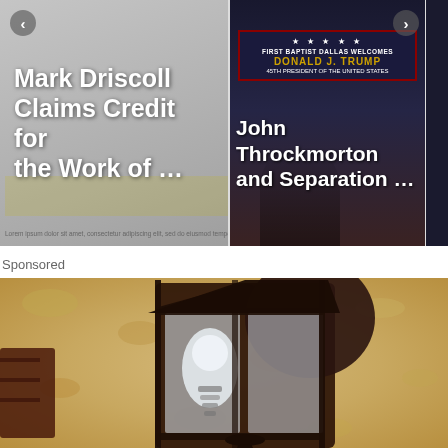[Figure (screenshot): Article thumbnail card: 'Mark Driscoll Claims Credit for the Work of ...' on gray background with faded text overlay]
[Figure (screenshot): Article thumbnail card: 'John Throckmorton and Separation ...' on dark background with church sign welcoming Donald J. Trump]
Sponsored
[Figure (photo): Close-up photo of a black wrought-iron outdoor lantern light fixture mounted on a beige/tan stucco wall]